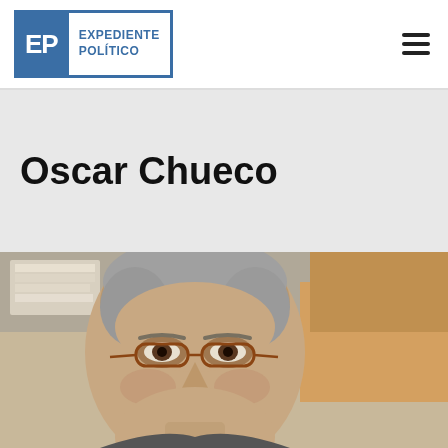Expediente Político
Oscar Chueco
[Figure (photo): Close-up photo of Oscar Chueco, an older man with grey hair and glasses, smiling slightly, indoors]